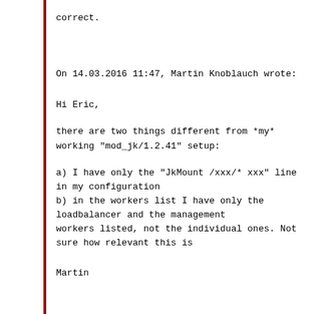correct.
On 14.03.2016 11:47, Martin Knoblauch wrote:

Hi Eric,

   there are two things different from *my* working "mod_jk/1.2.41" setup:

a) I have only the "JkMount /xxx/* xxx" line in my configuration
b) in the workers list I have only the loadbalancer and the management workers listed, not the individual ones. Not sure how relevant this is

Martin